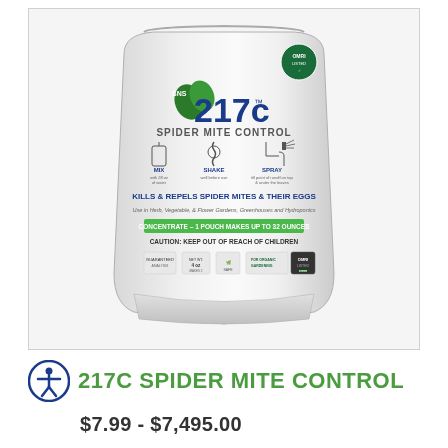[Figure (photo): Product photo of SNS 217c Spider Mite Control concentrate pouch. White stand-up pouch with blue/green branding showing logo '217c', 'SPIDER MITE CONTROL', instructions (MIX, SHAKE, SPRAY), 'KILLS & REPELS SPIDER MITES & THEIR EGGS', 'CONCENTRATE – 1 POUCH MAKES UP TO 32 OUNCES', 'CAUTION: KEEP OUT OF REACH OF CHILDREN', and organic gardening certification badges.]
217C SPIDER MITE CONTROL
$7.99 - $7,495.00